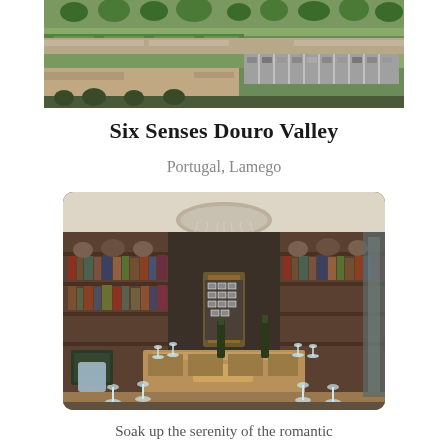[Figure (photo): Aerial view of hotel grounds with terraced gardens, green trees, parking areas and buildings]
Six Senses Douro Valley
Portugal, Lamego
[Figure (photo): Interior of elegant restaurant/wine tasting room with long wooden table set with wine glasses and bottles, bookshelves lining walls, chandelier overhead]
Soak up the serenity of the romantic and superbly renovated Six Senses